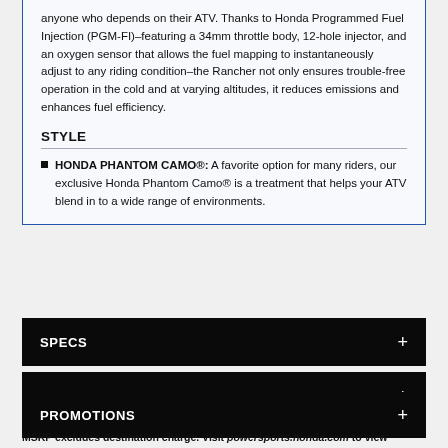anyone who depends on their ATV. Thanks to Honda Programmed Fuel Injection (PGM-FI)–featuring a 34mm throttle body, 12-hole injector, and an oxygen sensor that allows the fuel mapping to instantaneously adjust to any riding condition–the Rancher not only ensures trouble-free operation in the cold and at varying altitudes, it reduces emissions and enhances fuel efficiency.
STYLE
HONDA PHANTOM CAMO®: A favorite option for many riders, our exclusive Honda Phantom Camo® is a treatment that helps your ATV blend in to a wide range of environments.
SPECS
PHOTOS
PROMOTIONS
MSRP excludes destination charge. Visit powersports.honda.com to view